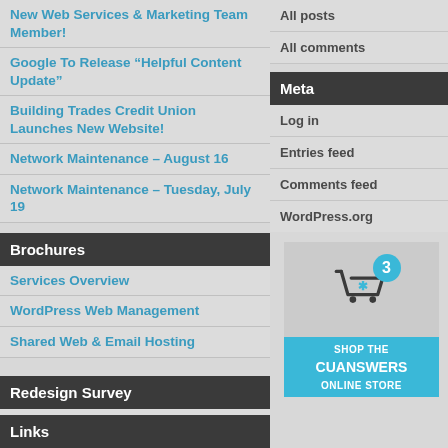New Web Services & Marketing Team Member!
Google To Release “Helpful Content Update”
Building Trades Credit Union Launches New Website!
Network Maintenance – August 16
Network Maintenance – Tuesday, July 19
Brochures
Services Overview
WordPress Web Management
Shared Web & Email Hosting
Redesign Survey
Web Services Redesign Survey
Links
All posts
All comments
Meta
Log in
Entries feed
Comments feed
WordPress.org
[Figure (illustration): CUAnswers online store banner with shopping cart icon, badge showing '3', and 'SHOP THE CUANSWERS ONLINE STORE' text on blue background]